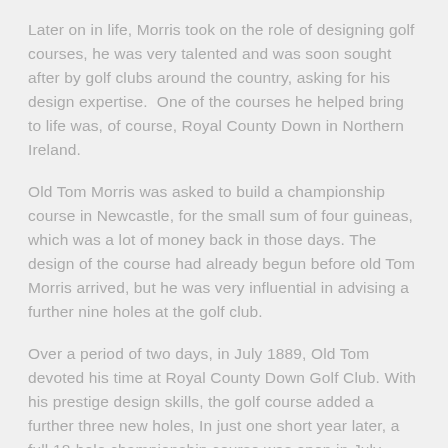Later on in life, Morris took on the role of designing golf courses, he was very talented and was soon sought after by golf clubs around the country, asking for his design expertise.  One of the courses he helped bring to life was, of course, Royal County Down in Northern Ireland.
Old Tom Morris was asked to build a championship course in Newcastle, for the small sum of four guineas, which was a lot of money back in those days. The design of the course had already begun before old Tom Morris arrived, but he was very influential in advising a further nine holes at the golf club.
Over a period of two days, in July 1889, Old Tom devoted his time at Royal County Down Golf Club. With his prestige design skills, the golf course added a further three new holes, In just one short year later, a full 18-hole championship course was open in July 1890.